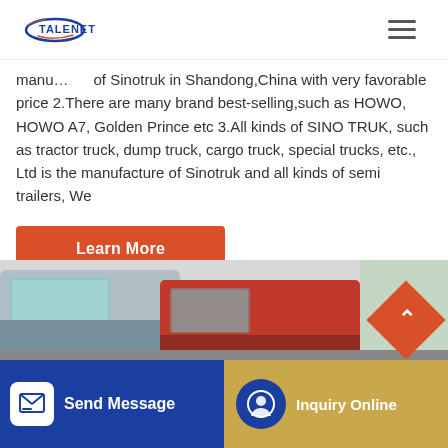TALENET
manu... of Sinotruk in Shandong,China with very favorable price 2.There are many brand best-selling,such as HOWO, HOWO A7, Golden Prince etc 3.All kinds of SINO TRUK, such as tractor truck, dump truck, cargo truck, special trucks, etc., Ltd is the manufacture of Sinotruk and all kinds of semi trailers, We
Learn More
[Figure (photo): Row of trucks including a cab view and red dump truck cab]
Send Message
Inquiry Online